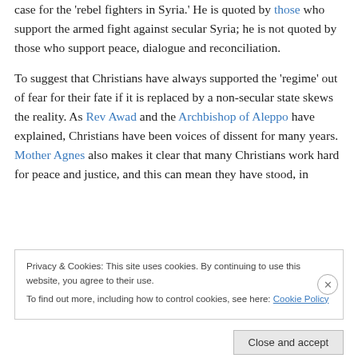case for the 'rebel fighters in Syria.' He is quoted by those who support the armed fight against secular Syria; he is not quoted by those who support peace, dialogue and reconciliation.
To suggest that Christians have always supported the 'regime' out of fear for their fate if it is replaced by a non-secular state skews the reality. As Rev Awad and the Archbishop of Aleppo have explained, Christians have been voices of dissent for many years. Mother Agnes also makes it clear that many Christians work hard for peace and justice, and this can mean they have stood, in
Privacy & Cookies: This site uses cookies. By continuing to use this website, you agree to their use.
To find out more, including how to control cookies, see here: Cookie Policy
Close and accept